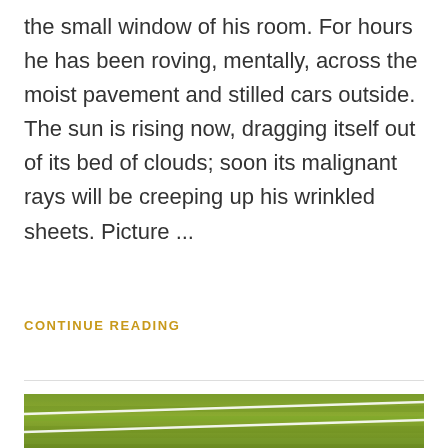the small window of his room. For hours he has been roving, mentally, across the moist pavement and stilled cars outside. The sun is rising now, dragging itself out of its bed of clouds; soon its malignant rays will be creeping up his wrinkled sheets. Picture ...
CONTINUE READING
[Figure (photo): Close-up photo of green grass sports field with white line markings visible diagonally across the frame]